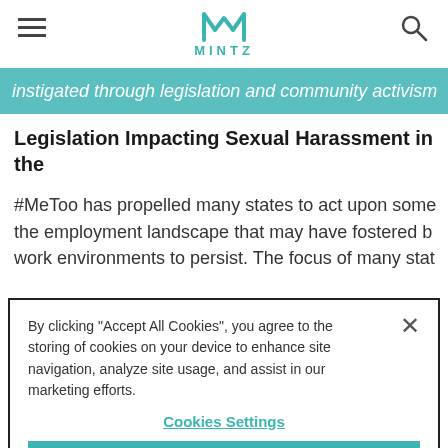MINTZ
instigated through legislation and community activism
Legislation Impacting Sexual Harassment in the
#MeToo has propelled many states to act upon some the employment landscape that may have fostered b work environments to persist. The focus of many stat
By clicking "Accept All Cookies", you agree to the storing of cookies on your device to enhance site navigation, analyze site usage, and assist in our marketing efforts.

Cookies Settings

Reject All